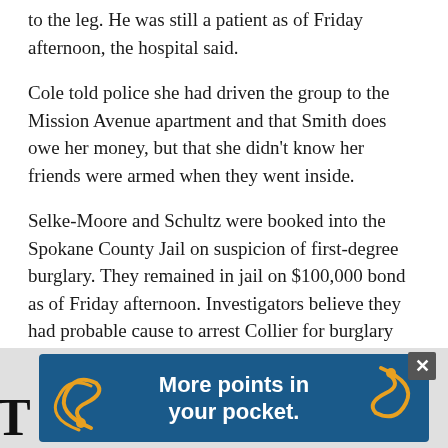to the leg. He was still a patient as of Friday afternoon, the hospital said.
Cole told police she had driven the group to the Mission Avenue apartment and that Smith does owe her money, but that she didn't know her friends were armed when they went inside.
Selke-Moore and Schultz were booked into the Spokane County Jail on suspicion of first-degree burglary. They remained in jail on $100,000 bond as of Friday afternoon. Investigators believe they had probable cause to arrest Collier for burglary after his release from the hospital, according to the search warrant.
[Figure (other): Advertisement banner showing 'More points in your pocket.' with decorative swirl graphics on a dark blue background, with a close button (×) in the top right corner and a partial large letter 'T' on the left.]